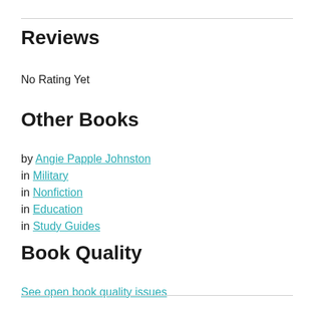Reviews
No Rating Yet
Other Books
by Angie Papple Johnston
in Military
in Nonfiction
in Education
in Study Guides
Book Quality
See open book quality issues